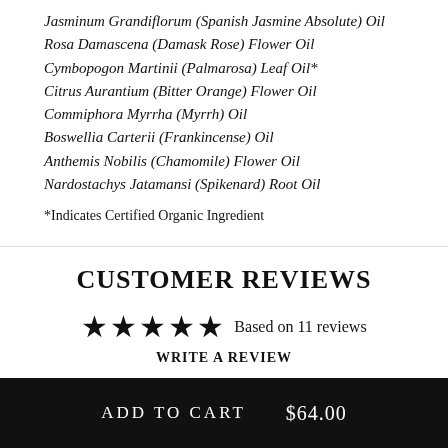Jasminum Grandiflorum (Spanish Jasmine Absolute) Oil
Rosa Damascena (Damask Rose) Flower Oil
Cymbopogon Martinii (Palmarosa) Leaf Oil*
Citrus Aurantium (Bitter Orange) Flower Oil
Commiphora Myrrha (Myrrh) Oil
Boswellia Carterii (Frankincense) Oil
Anthemis Nobilis (Chamomile) Flower Oil
Nardostachys Jatamansi (Spikenard) Root Oil
*Indicates Certified Organic Ingredient
CUSTOMER REVIEWS
Based on 11 reviews
WRITE A REVIEW
ADD TO CART   $64.00